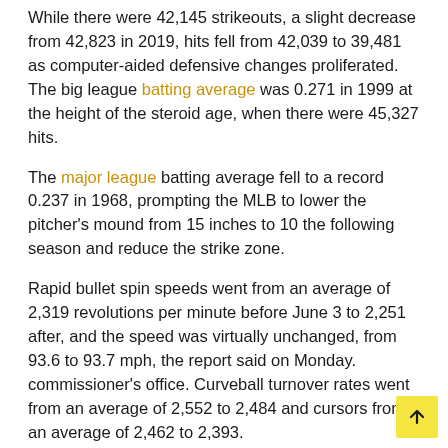While there were 42,145 strikeouts, a slight decrease from 42,823 in 2019, hits fell from 42,039 to 39,481 as computer-aided defensive changes proliferated. The big league batting average was 0.271 in 1999 at the height of the steroid age, when there were 45,327 hits.
The major league batting average fell to a record 0.237 in 1968, prompting the MLB to lower the pitcher's mound from 15 inches to 10 the following season and reduce the strike zone.
Rapid bullet spin speeds went from an average of 2,319 revolutions per minute before June 3 to 2,251 after, and the speed was virtually unchanged, from 93.6 to 93.7 mph, the report said on Monday. commissioner's office. Curveball turnover rates went from an average of 2,552 to 2,484 and cursors from an average of 2,462 to 2,393.
The percentage of plaque appearances ending in strikeouts increased from 24.2% before the crackdown to 22.7% after, while marches fell from 8.9% to 8.2%. Home runs fell from 3.1%